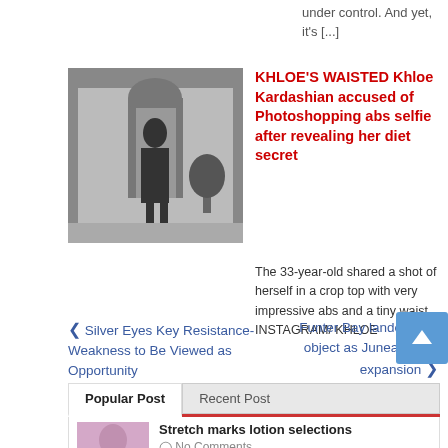under control. And yet, it's [...]
KHLOE'S WAISTED Khloe Kardashian accused of Photoshopping abs selfie after revealing her diet secret
[Figure (photo): Black and white photo of a person taking a mirror selfie in a room with a doorway and plant visible]
The 33-year-old shared a shot of herself in a crop top with very impressive abs and a tiny waist. INSTAGRAM/ KHLOE
❮ Silver Eyes Key Resistance- Weakness to Be Viewed as Opportunity
Funter Bay landowners object as Juneau eyes expansion ❯
Popular Post
Recent Post
[Figure (photo): Thumbnail image of a person, pinkish/purple tones]
Stretch marks lotion selections
No Comments